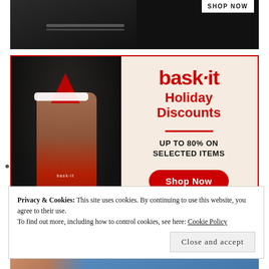[Figure (photo): Black and white photo of a muscular man wearing underwear, with a 'SHOP NOW' button overlay in the top right]
[Figure (infographic): bask·it Holiday Discounts advertisement. Left side shows a man in a Santa hat wearing red bask·it boxer briefs on a dark background. Right side on cream background shows the bask·it logo in red, 'Holiday Discounts' in red, a red divider line, 'UP TO 80% ON SELECTED ITEMS' in bold black, and a red 'Shop Now' rounded button.]
Privacy & Cookies: This site uses cookies. By continuing to use this website, you agree to their use.
To find out more, including how to control cookies, see here: Cookie Policy
Close and accept
[Figure (photo): Bottom strip of a photo showing a person wearing a blue garment]